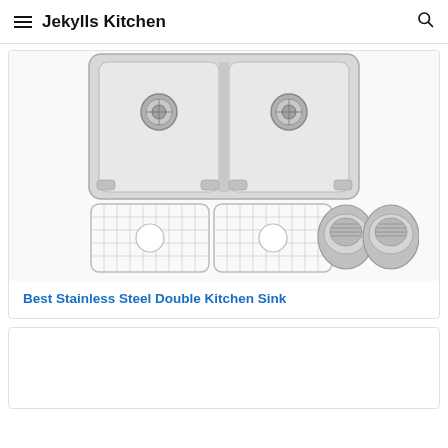Jekylls Kitchen
[Figure (photo): Stainless steel double bowl undermount kitchen sink shown from above, with two wire sink grids and two drain strainer assemblies displayed below the sink.]
Best Stainless Steel Double Kitchen Sink